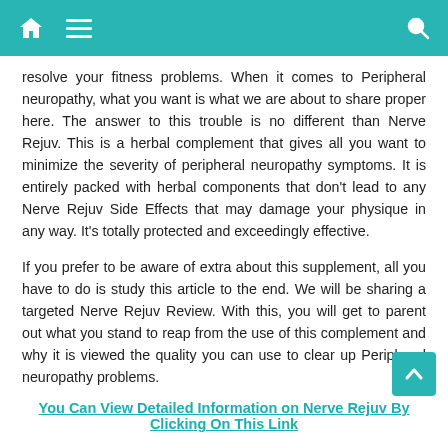[Navigation bar with home, menu, and search icons]
resolve your fitness problems. When it comes to Peripheral neuropathy, what you want is what we are about to share proper here. The answer to this trouble is no different than Nerve Rejuv. This is a herbal complement that gives all you want to minimize the severity of peripheral neuropathy symptoms. It is entirely packed with herbal components that don't lead to any Nerve Rejuv Side Effects that may damage your physique in any way. It's totally protected and exceedingly effective.
If you prefer to be aware of extra about this supplement, all you have to do is study this article to the end. We will be sharing a targeted Nerve Rejuv Review. With this, you will get to parent out what you stand to reap from the use of this complement and why it is viewed the quality you can use to clear up Peripheral neuropathy problems.
You Can View Detailed Information on Nerve Rejuv By Clicking On This Link